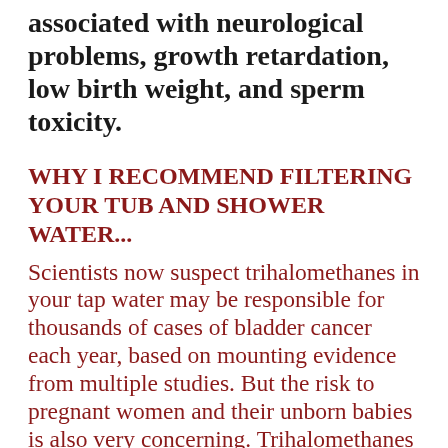associated with neurological problems, growth retardation, low birth weight, and sperm toxicity.
WHY I RECOMMEND FILTERING YOUR TUB AND SHOWER WATER...
Scientists now suspect trihalomethanes in your tap water may be responsible for thousands of cases of bladder cancer each year, based on mounting evidence from multiple studies. But the risk to pregnant women and their unborn babies is also very concerning. Trihalomethanes are associated with numerous developmental and reproductive abnormalities, including stillbirth, miscarriage, low birth weight, and neural tube defects. The neural tube refers to the anatomical structure that develops into your baby's brain